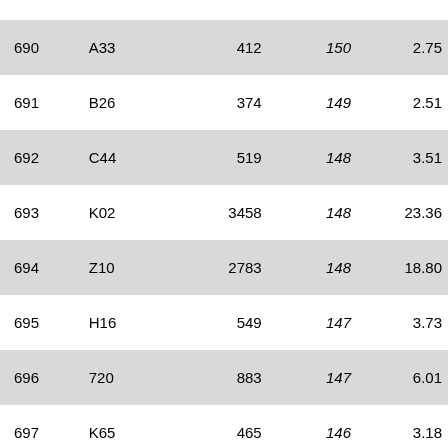| 690 | A33 | 412 | 150 | 2.75 |
| 691 | B26 | 374 | 149 | 2.51 |
| 692 | C44 | 519 | 148 | 3.51 |
| 693 | K02 | 3458 | 148 | 23.36 |
| 694 | Z10 | 2783 | 148 | 18.80 |
| 695 | H16 | 549 | 147 | 3.73 |
| 696 | 720 | 883 | 147 | 6.01 |
| 697 | K65 | 465 | 146 | 3.18 |